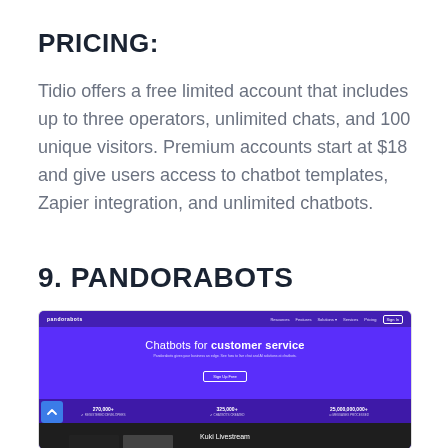PRICING:
Tidio offers a free limited account that includes up to three operators, unlimited chats, and 100 unique visitors. Premium accounts start at $18 and give users access to chatbot templates, Zapier integration, and unlimited chatbots.
9. PANDORABOTS
[Figure (screenshot): Screenshot of the Pandorabots website homepage showing a purple hero section with the text 'Chatbots for customer service', a navigation bar, stats bar showing registered developers, chatbots created, and messages processed, and a 'Kuki Livestream' section at the bottom.]